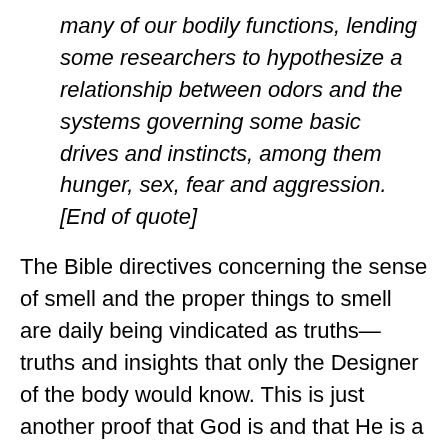many of our bodily functions, lending some researchers to hypothesize a relationship between odors and the systems governing some basic drives and instincts, among them hunger, sex, fear and aggression. [End of quote]
The Bible directives concerning the sense of smell and the proper things to smell are daily being vindicated as truths—truths and insights that only the Designer of the body would know. This is just another proof that God is and that He is a rewarder of those that diligently seek Him (Hebrews 11:6).
The following paragraph from The Encyclopedia of